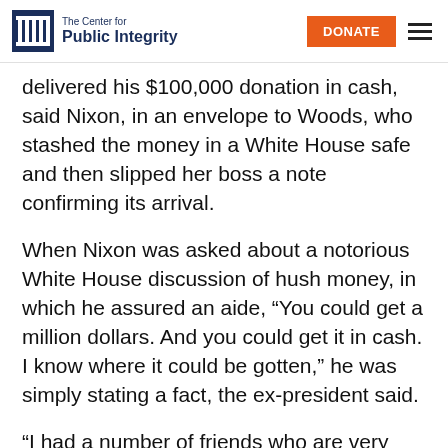The Center for Public Integrity | DONATE
delivered his $100,000 donation in cash, said Nixon, in an envelope to Woods, who stashed the money in a White House safe and then slipped her boss a note confirming its arrival.
When Nixon was asked about a notorious White House discussion of hush money, in which he assured an aide, “You could get a million dollars. And you could get it in cash. I know where it could be gotten,” he was simply stating a fact, the ex-president said.
“I had a number of friends who are very wealthy,